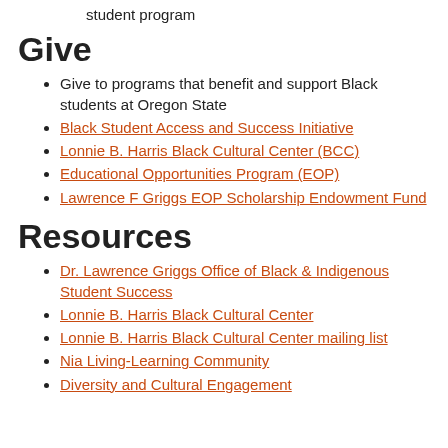student program
Give
Give to programs that benefit and support Black students at Oregon State
Black Student Access and Success Initiative
Lonnie B. Harris Black Cultural Center (BCC)
Educational Opportunities Program (EOP)
Lawrence F Griggs EOP Scholarship Endowment Fund
Resources
Dr. Lawrence Griggs Office of Black & Indigenous Student Success
Lonnie B. Harris Black Cultural Center
Lonnie B. Harris Black Cultural Center mailing list
Nia Living-Learning Community
Diversity and Cultural Engagement